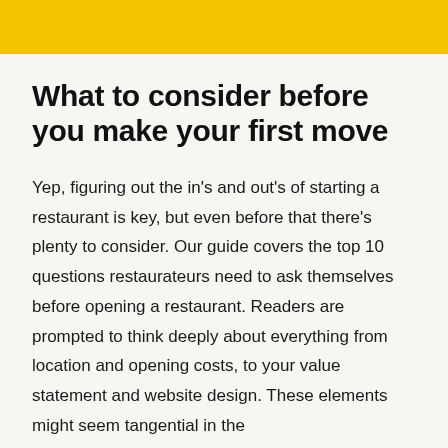What to consider before you make your first move
Yep, figuring out the in's and out's of starting a restaurant is key, but even before that there's plenty to consider. Our guide covers the top 10 questions restaurateurs need to ask themselves before opening a restaurant. Readers are prompted to think deeply about everything from location and opening costs, to your value statement and website design. These elements might seem tangential in the